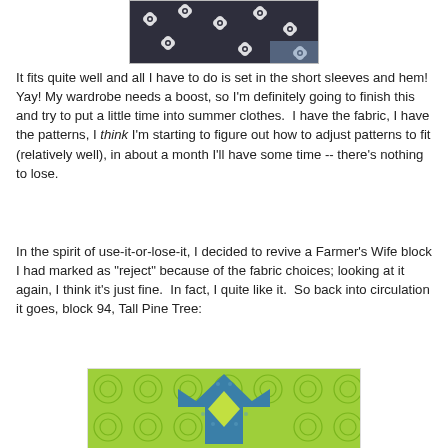[Figure (photo): Partial photo of a person wearing a dark floral-patterned top (white flowers on dark background), cropped to show upper body.]
It fits quite well and all I have to do is set in the short sleeves and hem!  Yay! My wardrobe needs a boost, so I'm definitely going to finish this and try to put a little time into summer clothes.  I have the fabric, I have the patterns, I think I'm starting to figure out how to adjust patterns to fit (relatively well), in about a month I'll have some time -- there's nothing to lose.
In the spirit of use-it-or-lose-it, I decided to revive a Farmer's Wife block I had marked as "reject" because of the fabric choices; looking at it again, I think it's just fine.  In fact, I quite like it.  So back into circulation it goes, block 94, Tall Pine Tree:
[Figure (photo): Close-up photo of a quilt block called 'Tall Pine Tree' (block 94), featuring green geometric/circular patterned fabric and teal/blue fabric arranged in a tree or star-like pattern.]